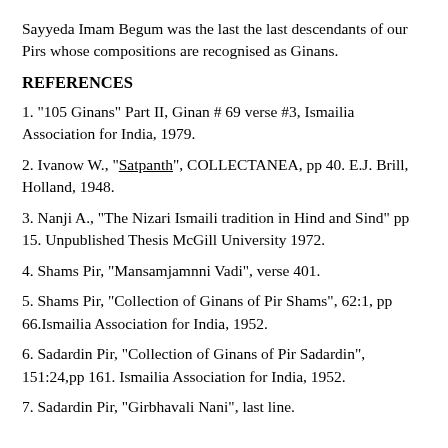Sayyeda Imam Begum was the last the last descendants of our Pirs whose compositions are recognised as Ginans.
REFERENCES
1. "105 Ginans" Part II, Ginan # 69 verse #3, Ismailia Association for India, 1979.
2. Ivanow W., "Satpanth", COLLECTANEA, pp 40. E.J. Brill, Holland, 1948.
3. Nanji A., "The Nizari Ismaili tradition in Hind and Sind" pp 15. Unpublished Thesis McGill University 1972.
4. Shams Pir, "Mansamjamnni Vadi", verse 401.
5. Shams Pir, "Collection of Ginans of Pir Shams", 62:1, pp 66.Ismailia Association for India, 1952.
6. Sadardin Pir, "Collection of Ginans of Pir Sadardin", 151:24,pp 161. Ismailia Association for India, 1952.
7. Sadardin Pir, "Girbhavali Nani", last line.